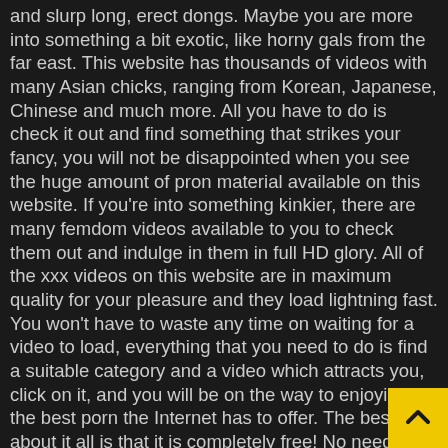and slurp long, erect dongs. Maybe you are more into something a bit exotic, like horny gals from the far east. This website has thousands of videos with many Asian chicks, ranging from Korean, Japanese, Chinese and much more. All you have to do is check it out and find something that strikes your fancy, you will not be disappointed when you see the huge amount of pron material available on this website. If you're into something kinkier, there are many femdom videos available to you to check them out and indulge in them in full HD glory. All of the xxx videos on this website are in maximum quality for your pleasure and they load lightning fast. You won't have to waste any time on waiting for a video to load, everything that you need to do is find a suitable category and a video which attracts you, click on it, and you will be on the way to enjoying the best porn the Internet has to offer. The best part about it all is that it is completely free! No need to spend any money on other websites when you can have it all here for completely free and in HD quality. No need to waste any more time on various other websites when you can enjoy completely free porno flicks on this website. Browse through our many categories and see for yourself why so many people keep coming back on a daily basis. The sheer amount of porn on this website is bound to make you keep coming back daily and enjoying in everything that XXXPornFull.com has to